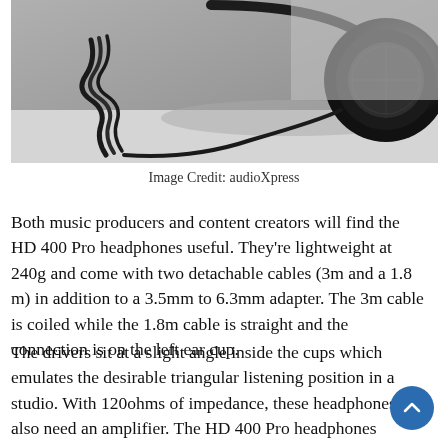[Figure (photo): Black and white photo of headphones (HD 400 Pro) resting on a surface, showing the ear cup and coiled cable detail.]
Image Credit: audioXpress
Both music producers and content creators will find the HD 400 Pro headphones useful. They're lightweight at 240g and come with two detachable cables (3m and a 1.8 m) in addition to a 3.5mm to 6.3mm adapter. The 3m cable is coiled while the 1.8m cable is straight and the connection is on the left ear cup.
The drivers sit at a slight angle inside the cups which emulates the desirable triangular listening position in a studio. With 120ohms of impedance, these headphones also need an amplifier. The HD 400 Pro headphones provide a wide